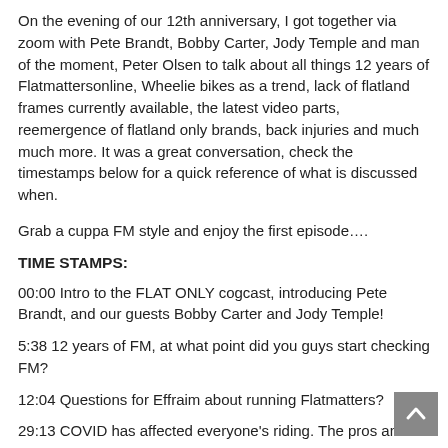On the evening of our 12th anniversary, I got together via zoom with Pete Brandt, Bobby Carter, Jody Temple and man of the moment, Peter Olsen to talk about all things 12 years of Flatmattersonline, Wheelie bikes as a trend, lack of flatland frames currently available, the latest video parts, reemergence of flatland only brands, back injuries and much much more. It was a great conversation, check the timestamps below for a quick reference of what is discussed when.
Grab a cuppa FM style and enjoy the first episode….
TIME STAMPS:
00:00 Intro to the FLAT ONLY cogcast, introducing Pete Brandt, and our guests Bobby Carter and Jody Temple!
5:38 12 years of FM, at what point did you guys start checking FM?
12:04 Questions for Effraim about running Flatmatters?
29:13 COVID has affected everyone's riding. The pros and cons.